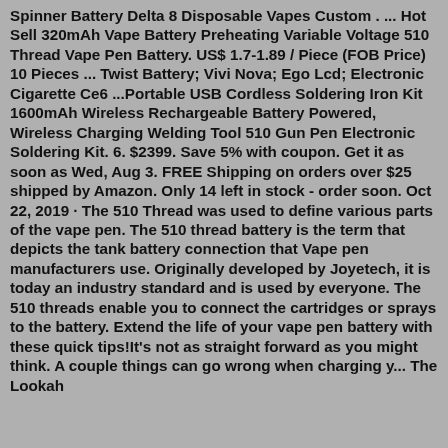Spinner Battery Delta 8 Disposable Vapes Custom . ... Hot Sell 320mAh Vape Battery Preheating Variable Voltage 510 Thread Vape Pen Battery. US$ 1.7-1.89 / Piece (FOB Price) 10 Pieces ... Twist Battery; Vivi Nova; Ego Lcd; Electronic Cigarette Ce6 ...Portable USB Cordless Soldering Iron Kit 1600mAh Wireless Rechargeable Battery Powered, Wireless Charging Welding Tool 510 Gun Pen Electronic Soldering Kit. 6. $2399. Save 5% with coupon. Get it as soon as Wed, Aug 3. FREE Shipping on orders over $25 shipped by Amazon. Only 14 left in stock - order soon. Oct 22, 2019 · The 510 Thread was used to define various parts of the vape pen. The 510 thread battery is the term that depicts the tank battery connection that Vape pen manufacturers use. Originally developed by Joyetech, it is today an industry standard and is used by everyone. The 510 threads enable you to connect the cartridges or sprays to the battery. Extend the life of your vape pen battery with these quick tips!It's not as straight forward as you might think. A couple things can go wrong when charging y... The Lookah